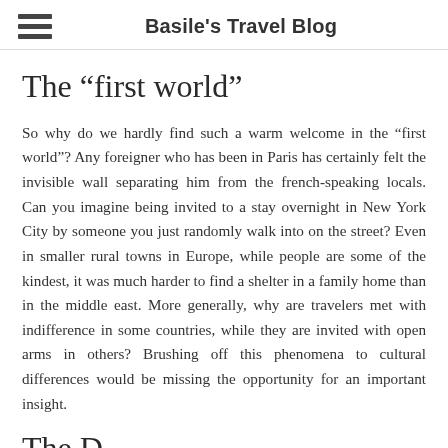Basile's Travel Blog
The “first world”
So why do we hardly find such a warm welcome in the “first world”? Any foreigner who has been in Paris has certainly felt the invisible wall separating him from the french-speaking locals. Can you imagine being invited to a stay overnight in New York City by someone you just randomly walk into on the street? Even in smaller rural towns in Europe, while people are some of the kindest, it was much harder to find a shelter in a family home than in the middle east. More generally, why are travelers met with indifference in some countries, while they are invited with open arms in others? Brushing off this phenomena to cultural differences would be missing the opportunity for an important insight.
The D...